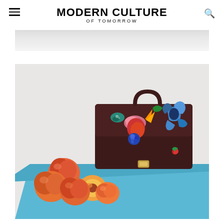MODERN CULTURE OF TOMORROW
[Figure (photo): Partial top image strip showing a light-colored interior scene, cropped]
[Figure (photo): A dark burgundy/maroon leather satchel bag with colorful floral embroidered patches, displayed on a blue surface next to several ripe nectarines/peaches, photographed against a light grey background]